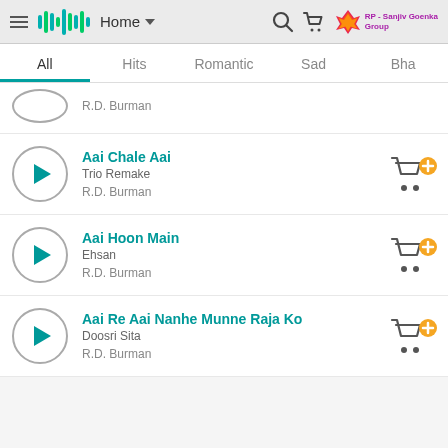Saregama Home
All | Hits | Romantic | Sad | Bha...
R.D. Burman
Aai Chale Aai - Trio Remake - R.D. Burman
Aai Hoon Main - Ehsan - R.D. Burman
Aai Re Aai Nanhe Munne Raja Ko - Doosri Sita - R.D. Burman